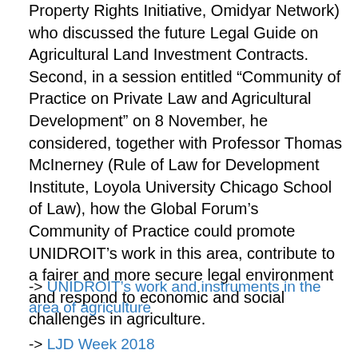Property Rights Initiative, Omidyar Network) who discussed the future Legal Guide on Agricultural Land Investment Contracts. Second, in a session entitled “Community of Practice on Private Law and Agricultural Development” on 8 November, he considered, together with Professor Thomas McInerney (Rule of Law for Development Institute, Loyola University Chicago School of Law), how the Global Forum’s Community of Practice could promote UNIDROIT’s work in this area, contribute to a fairer and more secure legal environment and respond to economic and social challenges in agriculture.
-> UNIDROIT’s work and instruments in the area of agriculture
-> LJD Week 2018